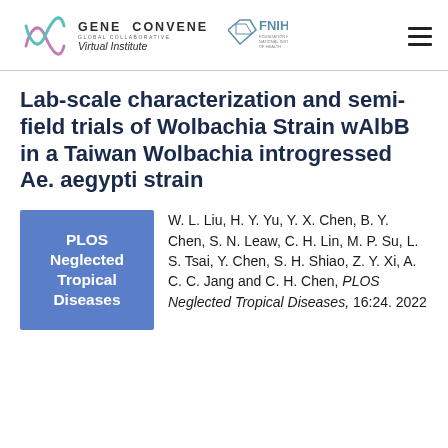GENE CONVENE Global Collaborative Virtual Institute | FNIH
Lab-scale characterization and semi-field trials of Wolbachia Strain wAlbB in a Taiwan Wolbachia introgressed Ae. aegypti strain
[Figure (logo): PLOS Neglected Tropical Diseases journal logo — blue square badge with white bold text]
W. L. Liu, H. Y. Yu, Y. X. Chen, B. Y. Chen, S. N. Leaw, C. H. Lin, M. P. Su, L. S. Tsai, Y. Chen, S. H. Shiao, Z. Y. Xi, A. C. C. Jang and C. H. Chen, PLOS Neglected Tropical Diseases, 16:24. 2022